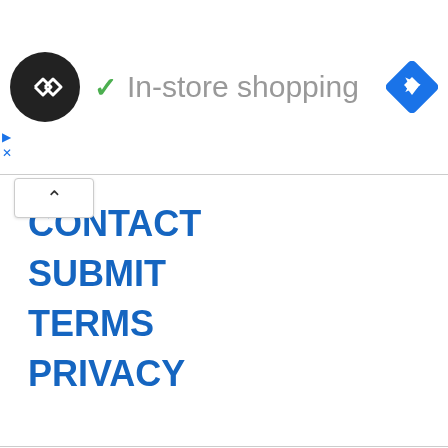[Figure (logo): Black circular logo with double arrow/infinity-like symbol in white, followed by a green checkmark and the text 'In-store shopping' in gray, with a blue navigation diamond icon on the right.]
CONTACT
SUBMIT
TERMS
PRIVACY
We use cookies on our website to give you the most relevant experience by remembering your preferences and repeat visits. By clicking “Accept”, you consent to the use of ALL the cookies.
Do not sell my personal information.
Cookie Settings
Accept